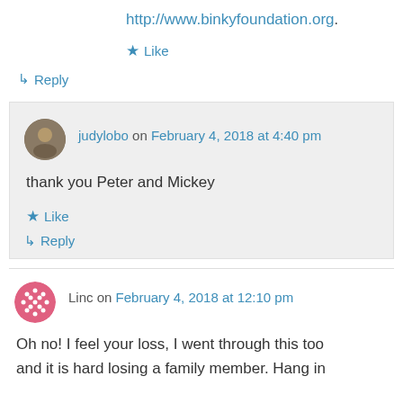http://www.binkyfoundation.org.
★ Like
↳ Reply
judylobo on February 4, 2018 at 4:40 pm
thank you Peter and Mickey
★ Like
↳ Reply
Linc on February 4, 2018 at 12:10 pm
Oh no! I feel your loss, I went through this too and it is hard losing a family member. Hang in